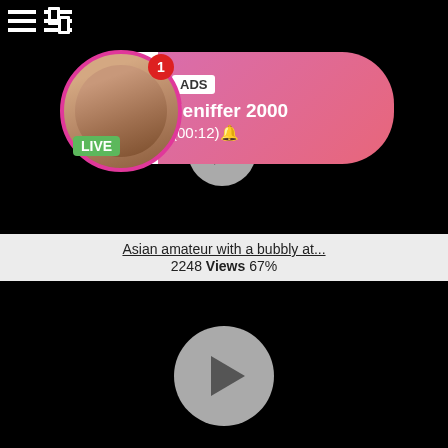[Figure (screenshot): Top video area showing black video player with ad overlay notification bubble containing profile photo, LIVE badge, ADS tag, username Jeniffer 2000, timer (00:12), and menu icons top-left]
Asian amateur with a bubbly at...
2248 Views 67%
[Figure (screenshot): Bottom video area showing black video player with large grey play button circle in center]